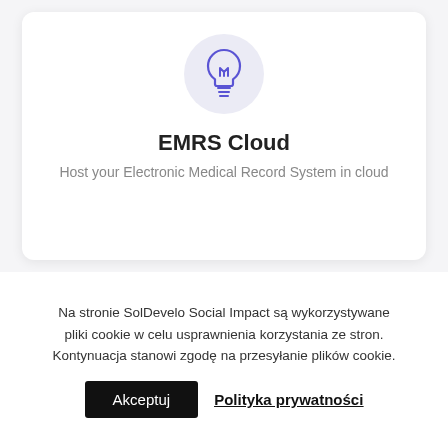[Figure (illustration): Lightbulb icon in purple/indigo color inside a light purple circular background, representing EMRS Cloud service]
EMRS Cloud
Host your Electronic Medical Record System in cloud
Na stronie SolDevelo Social Impact są wykorzystywane pliki cookie w celu usprawnienia korzystania ze stron. Kontynuacja stanowi zgodę na przesyłanie plików cookie.
Akceptuj  Polityka prywatności